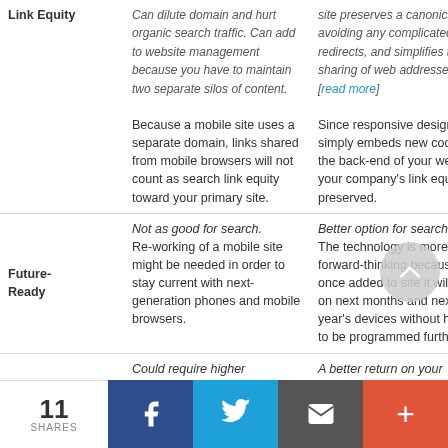|  | Mobile Site | Responsive Design |
| --- | --- | --- |
| Link Equity | Because a mobile site uses a separate domain, links shared from mobile browsers will not count as search link equity toward your primary site. | site preserves a canonical URL, avoiding any complicated redirects, and simplifies the sharing of web addresses... [read more] Since responsive design simply embeds new code on the back-end of your website, your company's link equity is preserved. |
| Future-Ready | Not as good for search. Re-working of a mobile site might be needed in order to stay current with next-generation phones and mobile browsers. | Better option for search. The technology is more forward-thinking because once added to site it will work on next months and next year's devices without having to be programmed further. |
|  | Could require higher maintenance and expense. | A better return on your investment. |
11 SHARES | Facebook | Twitter | Email | More